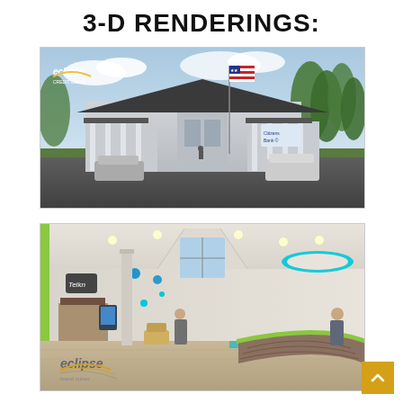3-D RENDERINGS:
[Figure (illustration): 3-D exterior rendering of an Eclipse Credit Union branch building. A single-story commercial building with a dark shingled hip roof, white decorative columns forming a covered drive-through canopy, grey siding, and palm trees in the background. An American flag flies on a tall flagpole. Cars are visible in the parking area. The Eclipse Credit Union logo appears in the upper left corner of the image.]
[Figure (illustration): 3-D interior rendering of an Eclipse Credit Union branch lobby. The modern open-plan interior features a curved reception desk with green countertop and stone base, a teal/turquoise circular ceiling light fixture, green accent stripe on the walls, a tall cathedral ceiling with exposed beams, a kiosk area labeled 'Telkn', and two staff members visible. The Eclipse brand cubes logo appears in the lower-left corner.]